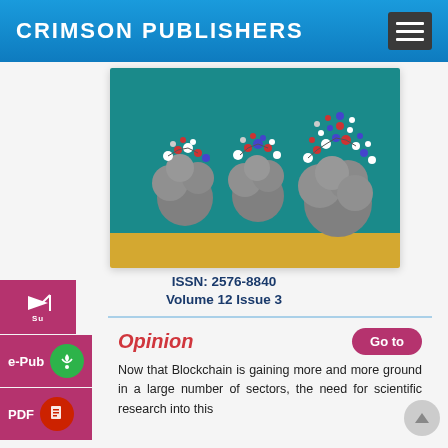CRIMSON PUBLISHERS
[Figure (illustration): Scientific journal cover image showing three molecular cluster models on a teal background with gold/yellow bottom band, depicting nanoparticle structures with red, blue, and white atoms attached to grey spherical clusters]
ISSN: 2576-8840
Volume 12 Issue 3
Opinion
Now that Blockchain is gaining more and more ground in a large number of sectors, the need for scientific research into this